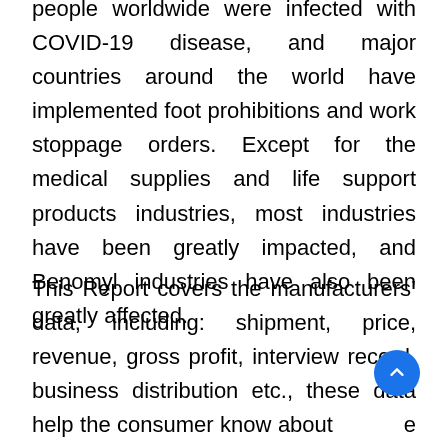people worldwide were infected with COVID-19 disease, and major countries around the world have implemented foot prohibitions and work stoppage orders. Except for the medical supplies and life support products industries, most industries have been greatly impacted, and Benomyl industries have also been greatly affected.
This Report covers the manufacturers' data, including: shipment, price, revenue, gross profit, interview record, business distribution etc., these data help the consumer know about the competitors better. This report also covers all the